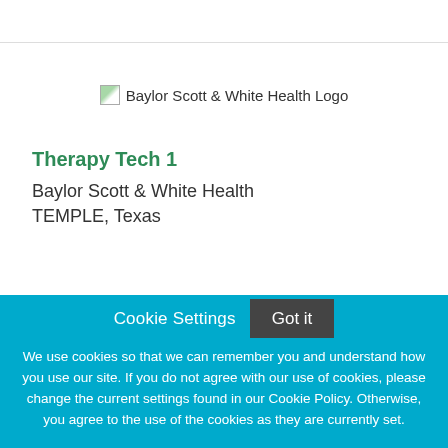[Figure (logo): Baylor Scott & White Health Logo placeholder image]
Therapy Tech 1
Baylor Scott & White Health
TEMPLE, Texas
NEW!
Cookie Settings
Got it
We use cookies so that we can remember you and understand how you use our site. If you do not agree with our use of cookies, please change the current settings found in our Cookie Policy. Otherwise, you agree to the use of the cookies as they are currently set.